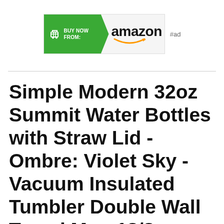[Figure (other): Amazon affiliate ad banner with green 'Buy Now From:' arrow section with shopping cart icon on left, and Amazon logo with orange smile on grey right section, followed by '#ad' label]
Simple Modern 32oz Summit Water Bottles with Straw Lid - Ombre: Violet Sky - Vacuum Insulated Tumbler Double Wall Travel Mug 18/8 Stainless Steel